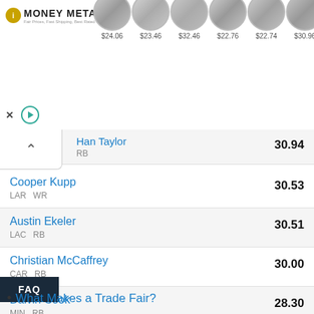[Figure (other): Money Metals advertisement banner with coin images and prices: $24.06, $23.46, $32.46, $22.76, $22.74, $30.96]
Han Taylor  RB  30.94
Cooper Kupp  LAR  WR  30.53
Austin Ekeler  LAC  RB  30.51
Christian McCaffrey  CAR  RB  30.00
Dalvin Cook  MIN  RB  28.30
Najee Harris  26.66
FAQ
What Makes a Trade Fair?